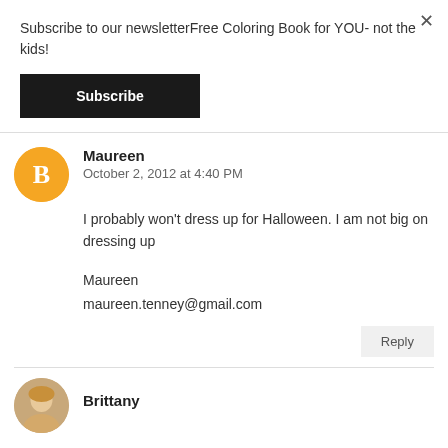Subscribe to our newsletterFree Coloring Book for YOU- not the kids!
Subscribe
Maureen
October 2, 2012 at 4:40 PM
I probably won't dress up for Halloween. I am not big on dressing up
Maureen
maureen.tenney@gmail.com
Reply
Brittany